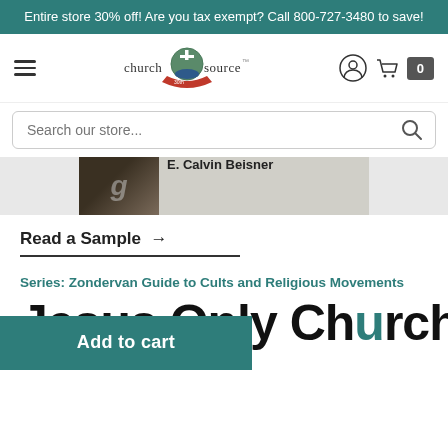Entire store 30% off! Are you tax exempt? Call 800-727-3480 to save!
[Figure (logo): Church Source logo with cross and 30th anniversary ribbon banner]
Search our store...
[Figure (photo): Partial book cover showing author name E. Calvin Beisner]
Read a Sample →
Series: Zondervan Guide to Cults and Religious Movements
Jesus Only Churches
V. Gomes
Add to cart